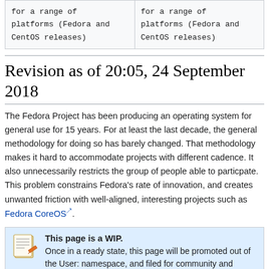| for a range of
platforms (Fedora and
CentOS releases) | for a range of
platforms (Fedora and
CentOS releases) |
Revision as of 20:05, 24 September 2018
The Fedora Project has been producing an operating system for general use for 15 years. For at least the last decade, the general methodology for doing so has barely changed. That methodology makes it hard to accommodate projects with different cadence. It also unnecessarily restricts the group of people able to particpate. This problem constrains Fedora's rate of innovation, and creates unwanted friction with well-aligned, interesting projects such as Fedora CoreOS.
This page is a WIP. Once in a ready state, this page will be promoted out of the User: namespace, and filed for community and Council review.